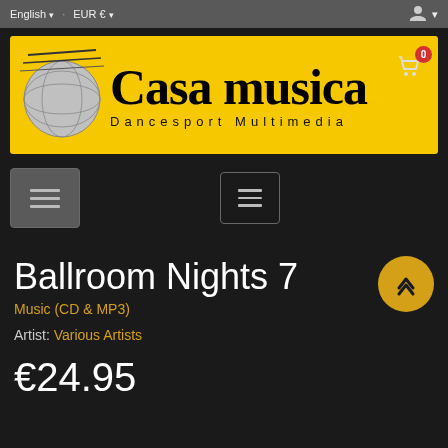English · EUR € · (user icon)
[Figure (logo): Casa Musica Dancesport Multimedia logo on yellow background with globe graphic]
[Figure (other): Navigation menu buttons - two hamburger menu icons on dark background]
Ballroom Nights 7
Music (CD & MP3)
Artist: Various Artists
€24.95